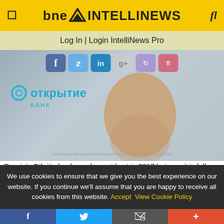bne INTELLINEWS
Log In | Login IntelliNews Pro
[Figure (photo): Photo of Cristiano Ronaldo smiling, wearing a blue polo shirt, with Otkritie Bank logo overlay and social media icons (Facebook, Twitter, LinkedIn, Google+, ShareThis, Flipboard) at the top. Russian regulatory text at the bottom of the image.]
Russia's Otkritie bank nearly went bust in 2017 but now it is fully rehabilitated and one of the fastest growing banks in Russia. Wholly owned by the Central Bank of Russia, the regulator now wants to offload it either by a strategic sale or an IPO in 2022. / wiki
We use cookies to ensure that we give you the best experience on our website. If you continue we'll assume that you are happy to receive all cookies from this website. Accept  View Cookie Policy
f  Twitter  Email  +